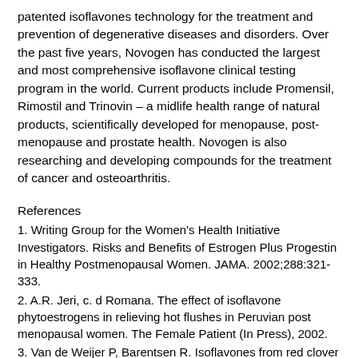patented isoflavones technology for the treatment and prevention of degenerative diseases and disorders. Over the past five years, Novogen has conducted the largest and most comprehensive isoflavone clinical testing program in the world. Current products include Promensil, Rimostil and Trinovin – a midlife health range of natural products, scientifically developed for menopause, post-menopause and prostate health. Novogen is also researching and developing compounds for the treatment of cancer and osteoarthritis.
References
1. Writing Group for the Women's Health Initiative Investigators. Risks and Benefits of Estrogen Plus Progestin in Healthy Postmenopausal Women. JAMA. 2002;288:321-333.
2. A.R. Jeri, c. d Romana. The effect of isoflavone phytoestrogens in relieving hot flushes in Peruvian post menopausal women. The Female Patient (In Press), 2002.
3. Van de Weijer P, Barentsen R. Isoflavones from red clover (Promensil) significantly reduce hot flashes compared with placebo [redacted] iety's 12th An[redacted]